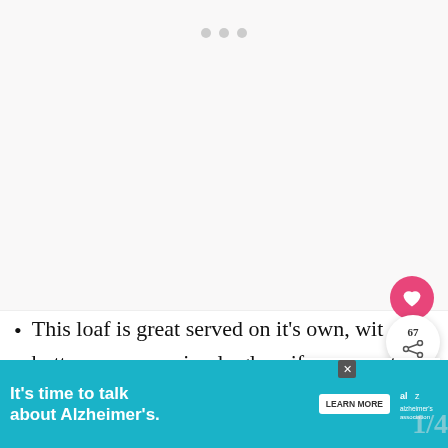[Figure (photo): Image placeholder area with three gray navigation dots at the top center, likely a recipe food photo carousel]
This loaf is great served on it's own, with butter or even a simple glaze if you want to take it up a notch! To make a simply mix together 1/4 cup powdered
[Figure (infographic): Ad banner: It's time to talk about Alzheimer's. with Learn More button and Alzheimer's Association logo]